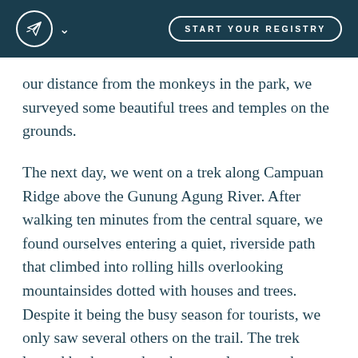START YOUR REGISTRY
our distance from the monkeys in the park, we surveyed some beautiful trees and temples on the grounds.
The next day, we went on a trek along Campuan Ridge above the Gunung Agung River. After walking ten minutes from the central square, we found ourselves entering a quiet, riverside path that climbed into rolling hills overlooking mountainsides dotted with houses and trees. Despite it being the busy season for tourists, we only saw several others on the trail. The trek looped back around to the central square where we finished our walk with a traditional Balinese lunch.
Our most memorable experience in Ubud was the private